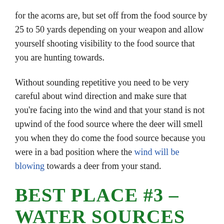for the acorns are, but set off from the food source by 25 to 50 yards depending on your weapon and allow yourself shooting visibility to the food source that you are hunting towards.
Without sounding repetitive you need to be very careful about wind direction and make sure that you're facing into the wind and that your stand is not upwind of the food source where the deer will smell you when they do come the food source because you were in a bad position where the wind will be blowing towards a deer from your stand.
BEST PLACE #3 – WATER SOURCES